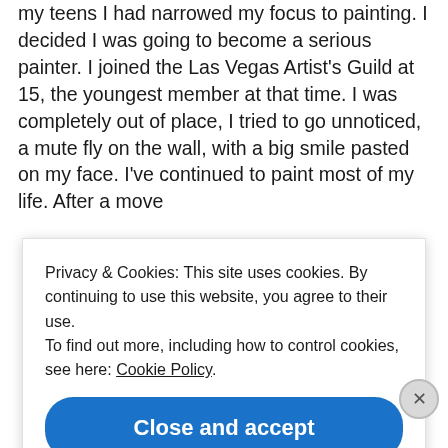my teens I had narrowed my focus to painting. I decided I was going to become a serious painter. I joined the Las Vegas Artist's Guild at 15, the youngest member at that time. I was completely out of place, I tried to go unnoticed, a mute fly on the wall, with a big smile pasted on my face. I've continued to paint most of my life. After a move
Privacy & Cookies: This site uses cookies. By continuing to use this website, you agree to their use.
To find out more, including how to control cookies, see here: Cookie Policy
Close and accept